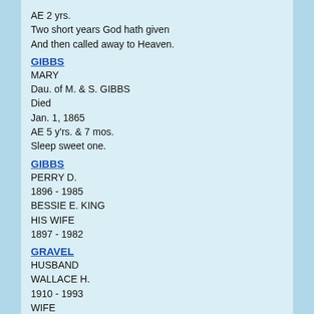AE 2 yrs.
Two short years God hath given
And then called away to Heaven.
GIBBS
MARY
Dau. of M. & S. GIBBS
Died
Jan. 1, 1865
AE 5 y'rs. & 7 mos.
Sleep sweet one.
GIBBS
PERRY D.
1896 - 1985
BESSIE E. KING
HIS WIFE
1897 - 1982
GRAVEL
HUSBAND
WALLACE H.
1910 - 1993
WIFE
EULA M. DELOSH
1919 - 1985
THY WILL BE DONE
HARTSOCK